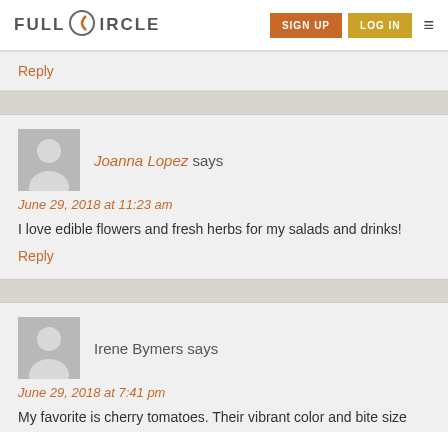FULL CIRCLE | SIGN UP | LOG IN
Reply
Joanna Lopez says
June 29, 2018 at 11:23 am
I love edible flowers and fresh herbs for my salads and drinks!
Reply
Irene Bymers says
June 29, 2018 at 7:41 pm
My favorite is cherry tomatoes. Their vibrant color and bite size